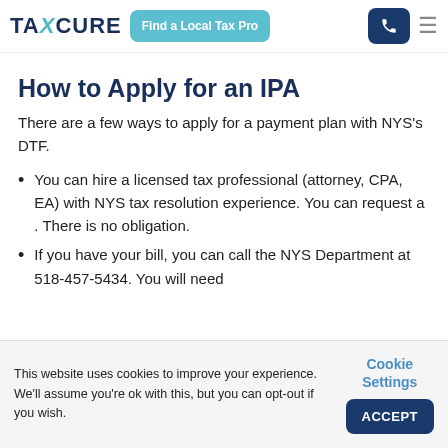TAXCURE | Find a Local Tax Pro
How to Apply for an IPA
There are a few ways to apply for a payment plan with NYS's DTF.
You can hire a licensed tax professional (attorney, CPA, EA) with NYS tax resolution experience. You can request a . There is no obligation.
If you have your bill, you can call the NYS Department at 518-457-5434. You will need
This website uses cookies to improve your experience. We'll assume you're ok with this, but you can opt-out if you wish.
Cookie Settings
ACCEPT